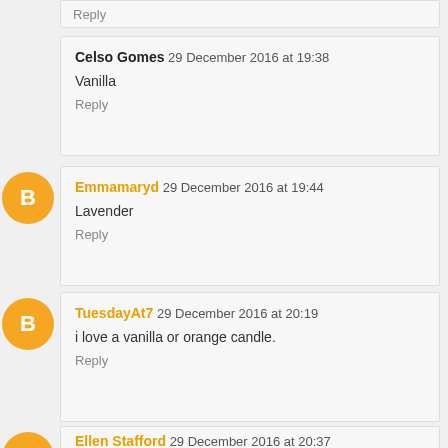Reply
Celso Gomes 29 December 2016 at 19:38
Vanilla
Reply
[Figure (logo): Orange Blogger avatar circle icon with B logo]
Emmamaryd 29 December 2016 at 19:44
Lavender
Reply
[Figure (logo): Orange Blogger avatar circle icon with B logo]
TuesdayAt7 29 December 2016 at 20:19
i love a vanilla or orange candle.
Reply
[Figure (logo): Orange Blogger avatar circle icon with B logo]
Ellen Stafford 29 December 2016 at 20:37